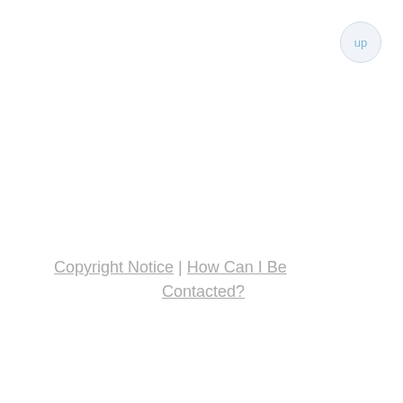up
Copyright Notice | How Can I Be Contacted?